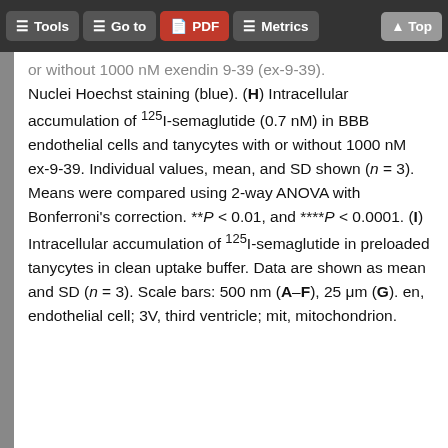Tools  Go to  PDF  Metrics  Top
or without 1000 nM exendin 9-39 (ex-9-39). Nuclei Hoechst staining (blue). (H) Intracellular accumulation of 125I-semaglutide (0.7 nM) in BBB endothelial cells and tanycytes with or without 1000 nM ex-9-39. Individual values, mean, and SD shown (n = 3). Means were compared using 2-way ANOVA with Bonferroni's correction. **P < 0.01, and ****P < 0.0001. (I) Intracellular accumulation of 125I-semaglutide in preloaded tanycytes in clean uptake buffer. Data are shown as mean and SD (n = 3). Scale bars: 500 nm (A–F), 25 μm (G). en, endothelial cell; 3V, third ventricle; mit, mitochondrion.